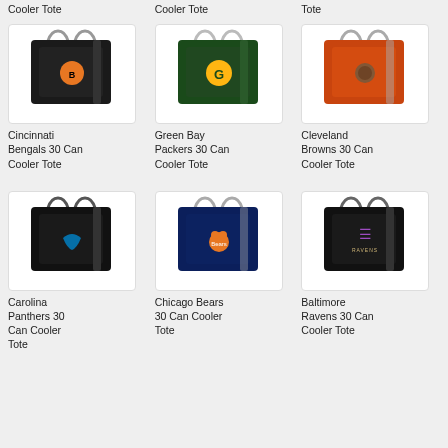Cooler Tote
Cooler Tote
Tote
[Figure (photo): Black tote bag with Cincinnati Bengals logo]
Cincinnati Bengals 30 Can Cooler Tote
[Figure (photo): Green tote bag with Green Bay Packers logo]
Green Bay Packers 30 Can Cooler Tote
[Figure (photo): Orange tote bag with Cleveland Browns logo]
Cleveland Browns 30 Can Cooler Tote
[Figure (photo): Black tote bag with Carolina Panthers logo]
Carolina Panthers 30 Can Cooler Tote
[Figure (photo): Navy blue tote bag with Chicago Bears logo]
Chicago Bears 30 Can Cooler Tote
[Figure (photo): Black tote bag with Baltimore Ravens logo]
Baltimore Ravens 30 Can Cooler Tote